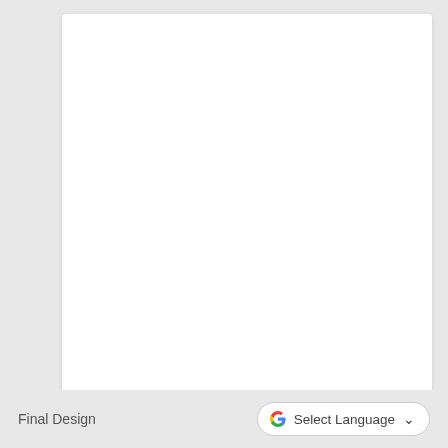[Figure (screenshot): White content area card on grey background, mostly blank/empty white space representing a web page content area]
Final Design
[Figure (other): Google Translate widget button showing the Google G logo in multicolor and 'Select Language' text with a dropdown chevron, styled as a rounded pill button]